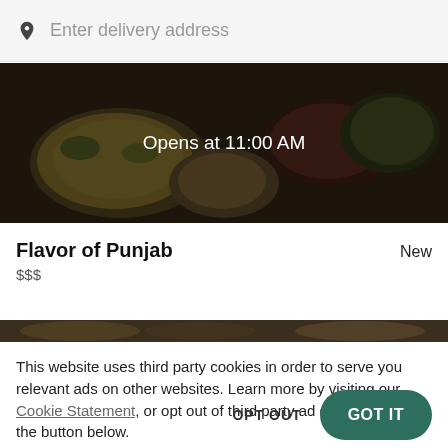[Figure (screenshot): Search bar with pin/location icon and placeholder text 'Enter delivery address' on light gray background]
[Figure (photo): Restaurant food photo showing Indian dishes — biryani, curries, vegetables — with dark overlay and centered text 'Opens at 11:00 AM']
Flavor of Punjab
New
$$$
[Figure (photo): Partially visible second restaurant food photo strip]
This website uses third party cookies in order to serve you relevant ads on other websites. Learn more by visiting our Cookie Statement, or opt out of third party ad cookies using the button below.
OPT OUT
GOT IT